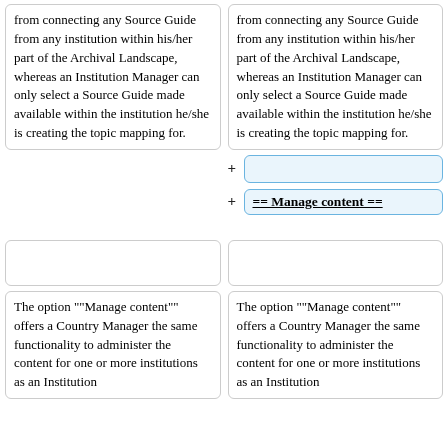from connecting any Source Guide from any institution within his/her part of the Archival Landscape, whereas an Institution Manager can only select a Source Guide made available within the institution he/she is creating the topic mapping for.
from connecting any Source Guide from any institution within his/her part of the Archival Landscape, whereas an Institution Manager can only select a Source Guide made available within the institution he/she is creating the topic mapping for.
== Manage content ==
The option ""Manage content"" offers a Country Manager the same functionality to administer the content for one or more institutions as an Institution
The option ""Manage content"" offers a Country Manager the same functionality to administer the content for one or more institutions as an Institution